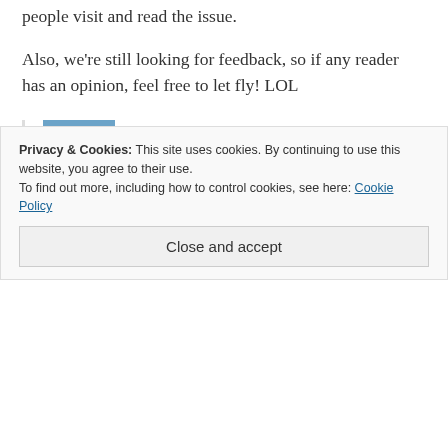people visit and read the issue.
Also, we're still looking for feedback, so if any reader has an opinion, feel free to let fly! LOL
RK says:
December 11, 2013 at 6:43 pm
[Figure (photo): Avatar photo of commenter RK showing a bell tower with a star badge overlay]
Are you going to do themes for each
Privacy & Cookies: This site uses cookies. By continuing to use this website, you agree to their use.
To find out more, including how to control cookies, see here: Cookie Policy
Close and accept